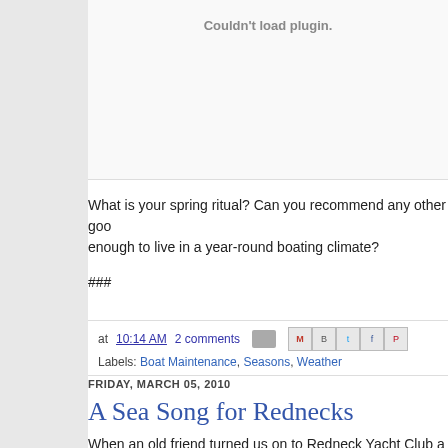[Figure (other): Plugin embed area showing 'Couldn't load plugin.' error message in gray text]
What is your spring ritual? Can you recommend any other good enough to live in a year-round boating climate?
###
at 10:14 AM   2 comments  [share icons]
Labels: Boat Maintenance, Seasons, Weather
FRIDAY, MARCH 05, 2010
A Sea Song for Rednecks
When an old friend turned us on to Redneck Yacht Club a few o